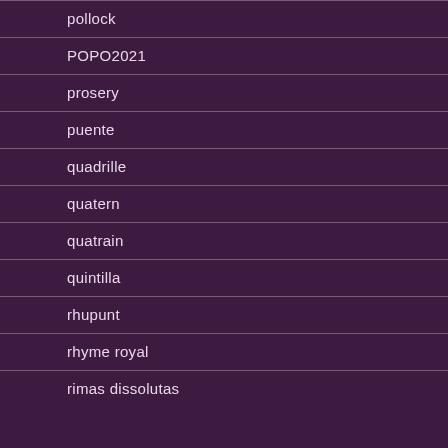pollock
POPO2021
prosery
puente
quadrille
quatern
quatrain
quintilla
rhupunt
rhyme royal
rimas dissolutas